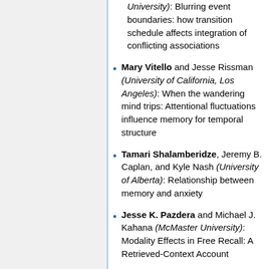(University): Blurring event boundaries: how transition schedule affects integration of conflicting associations
Mary Vitello and Jesse Rissman (University of California, Los Angeles): When the wandering mind trips: Attentional fluctuations influence memory for temporal structure
Tamari Shalamberidze, Jeremy B. Caplan, and Kyle Nash (University of Alberta): Relationship between memory and anxiety
Jesse K. Pazdera and Michael J. Kahana (McMaster University): Modality Effects in Free Recall: A Retrieved-Context Account
Aakash Sarkar, Brandon G. Jacques, Zoran Tiganj, Per B.